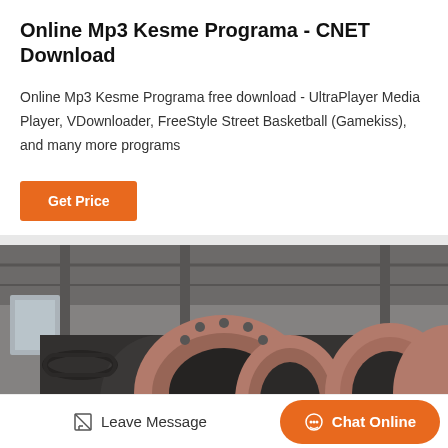Online Mp3 Kesme Programa - CNET Download
Online Mp3 Kesme Programa free download - UltraPlayer Media Player, VDownloader, FreeStyle Street Basketball (Gamekiss), and many more programs
Get Price
[Figure (photo): Industrial machinery photo showing large cylindrical mill equipment in a factory/industrial building interior]
Leave Message
Chat Online